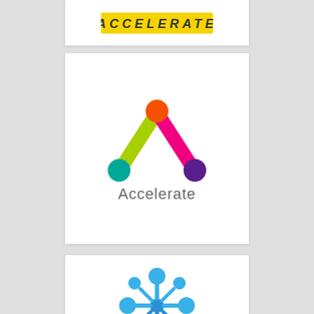[Figure (logo): Partially visible top card with yellow/gold banner containing stylized text on white background]
[Figure (logo): Accelerate logo: colorful letter A shape made of two rounded pill/rod shapes (lime green and hot pink) meeting at top with orange circle, teal circle at bottom-left, purple circle at bottom-right, with word 'Accelerate' in light gray sans-serif below]
[Figure (logo): Blue circular/molecular icon logo with interconnected circles arranged in a cross/plus pattern with rounded nodes, blue gradient color, partially visible at bottom]